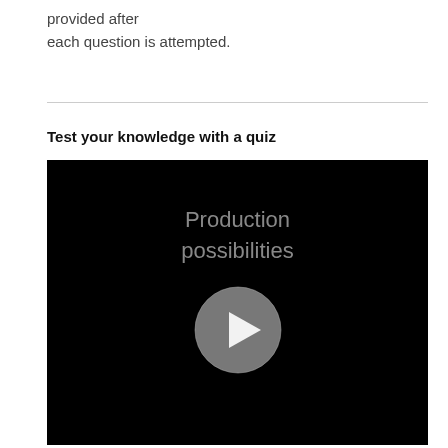provided after each question is attempted.
Test your knowledge with a quiz
[Figure (other): Video thumbnail with black background showing title 'Production possibilities' and a circular play button in the center]